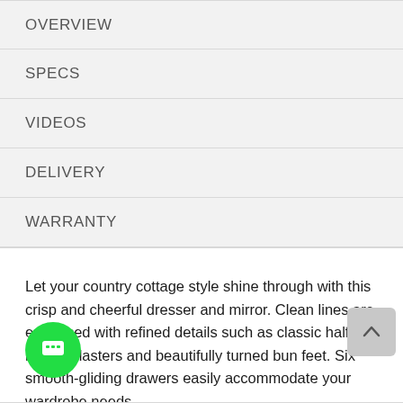OVERVIEW
SPECS
VIDEOS
DELIVERY
WARRANTY
Let your country cottage style shine through with this crisp and cheerful dresser and mirror. Clean lines are enhanced with refined details such as classic half-round pilasters and beautifully turned bun feet. Six smooth-gliding drawers easily accommodate your wardrobe needs.